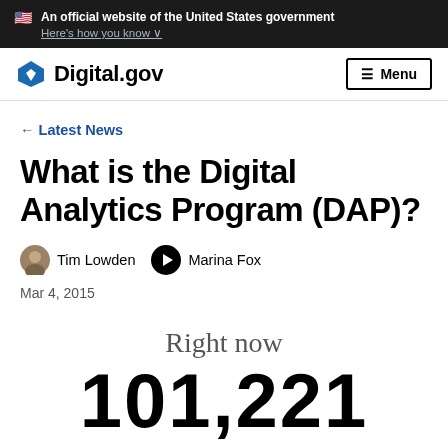🇺🇸 An official website of the United States government Here's how you know
Digital.gov — Menu
← Latest News
What is the Digital Analytics Program (DAP)?
Tim Lowden   Marina Fox
Mar 4, 2015
Right now